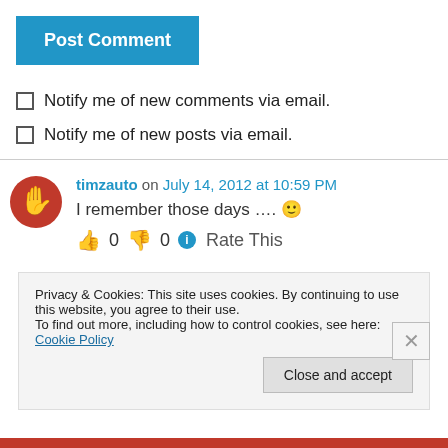[Figure (other): Blue 'Post Comment' button]
Notify me of new comments via email.
Notify me of new posts via email.
timzauto on July 14, 2012 at 10:59 PM
I remember those days .... 🙂
👍 0 👎 0 ℹ Rate This
Privacy & Cookies: This site uses cookies. By continuing to use this website, you agree to their use.
To find out more, including how to control cookies, see here: Cookie Policy